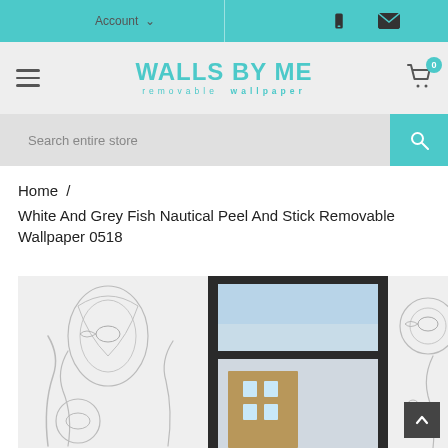Account  [phone icon] [mail icon]
[Figure (logo): Walls By Me removable wallpaper logo in teal with hamburger menu and cart icon]
Search entire store
Home / White And Grey Fish Nautical Peel And Stick Removable Wallpaper 0518
[Figure (photo): White and grey fish nautical peel and stick removable wallpaper installed on a wall next to a window, showing ornate fish and ocean botanical line art illustration in grey on white background]